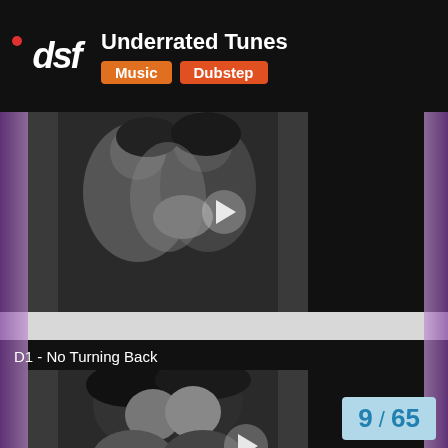Underrated Tunes — Music / Dubstep — dsf
[Figure (screenshot): Grayscale video thumbnail of two people embracing, with a play button overlay. Part of a music/dubstep video playlist on dsf website.]
D1 - No Turning Back
[Figure (screenshot): Grayscale video thumbnail of two people kissing, with a play button overlay. Second video card on dsf Underrated Tunes dubstep playlist page.]
9 / 65